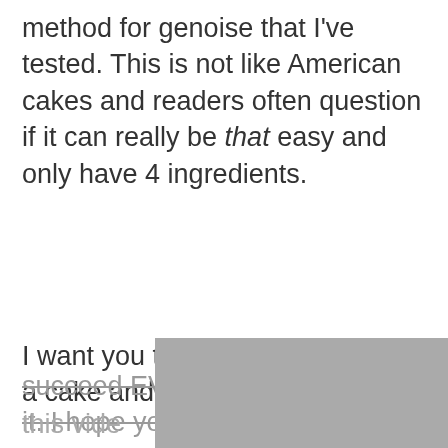method for genoise that I've tested. This is not like American cakes and readers often question if it can really be that easy and only have 4 ingredients.
I want you to discover this gem of a cake and succeed EVERY TIME you make it. I hope you find this vide
[Figure (illustration): Hexagonal geometric pattern in grey tones, partially visible at bottom right of page, overlapping text]